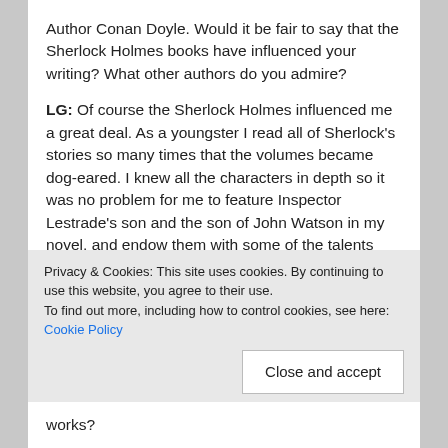Author Conan Doyle. Would it be fair to say that the Sherlock Holmes books have influenced your writing? What other authors do you admire?
LG: Of course the Sherlock Holmes influenced me a great deal. As a youngster I read all of Sherlock's stories so many times that the volumes became dog-eared. I knew all the characters in depth so it was no problem for me to feature Inspector Lestrade's son and the son of John Watson in my novel, and endow them with some of the talents (and flaws) their fathers had. It made for a nice continuum to go with the definite Sherlockian characteristics that Joanna possessed. As far as my favorite authors are concerned, they are James Clavell (Shogan), Herman Wouk (The Winds of War), and Tess Gerritsen (Harvest). For character development, no one can...
Privacy & Cookies: This site uses cookies. By continuing to use this website, you agree to their use.
To find out more, including how to control cookies, see here: Cookie Policy
Close and accept
works?